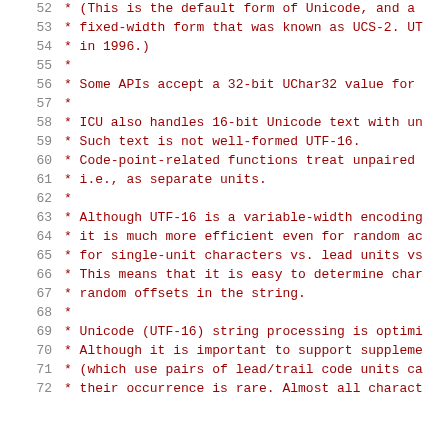52  * (This is the default form of Unicode, and a
53  * fixed-width form that was known as UCS-2. UT
54  * in 1996.)
55  *
56  * Some APIs accept a 32-bit UChar32 value for
57  *
58  * ICU also handles 16-bit Unicode text with un
59  * Such text is not well-formed UTF-16.
60  * Code-point-related functions treat unpaired
61  * i.e., as separate units.
62  *
63  * Although UTF-16 is a variable-width encoding
64  * it is much more efficient even for random ac
65  * for single-unit characters vs. lead units vs
66  * This means that it is easy to determine char
67  * random offsets in the string.
68  *
69  * Unicode (UTF-16) string processing is optimi
70  * Although it is important to support suppleme
71  * (which use pairs of lead/trail code units ca
72  * their occurrence is rare. Almost all charact